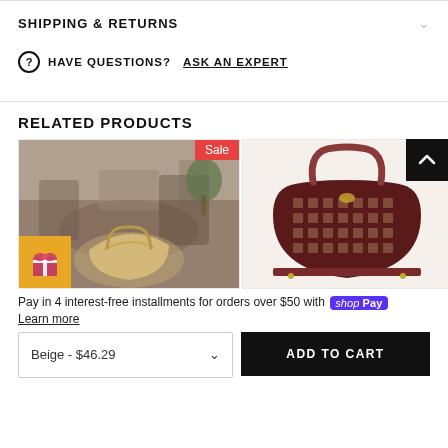SHIPPING & RETURNS
HAVE QUESTIONS? ASK AN EXPERT
RELATED PRODUCTS
[Figure (photo): Product card showing a handbag in a restaurant setting with Sale badge]
[Figure (photo): Product card showing a dark patterned handbag with Sale badge]
Pay in 4 interest-free installments for orders over $50 with Shop Pay
Learn more
Beige - $46.29
ADD TO CART